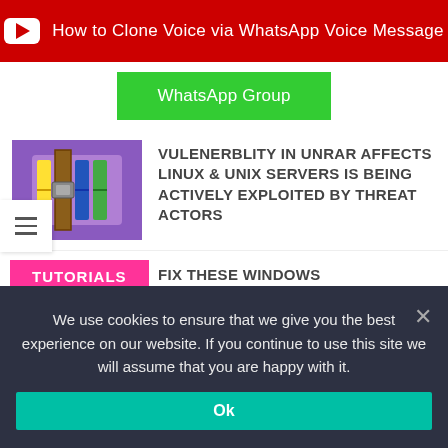[Figure (screenshot): YouTube banner with red background showing 'How to Clone Voice via WhatsApp Voice Message']
WhatsApp Group
[Figure (illustration): WinRAR compression software icon on purple background]
VULENERBLITY IN UNRAR AFFECTS LINUX & UNIX SERVERS IS BEING ACTIVELY EXPLOITED BY THREAT ACTORS
[Figure (screenshot): Windows logo image on dark blue background]
FIX THESE WINDOWS VULNERABILITIES BEFORE SOMEONE EXPLOITS THEM
VIEW ALL
TUTORIALS
We use cookies to ensure that we give you the best experience on our website. If you continue to use this site we will assume that you are happy with it.